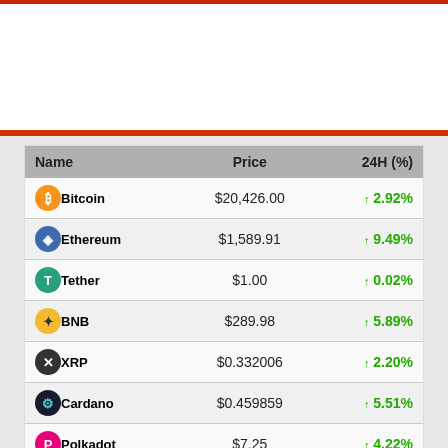| Name | Price | 24H (%) |
| --- | --- | --- |
| Bitcoin | $20,426.00 | ↑ 2.92% |
| Ethereum | $1,589.91 | ↑ 9.49% |
| Tether | $1.00 | ↑ 0.02% |
| BNB | $289.98 | ↑ 5.89% |
| XRP | $0.332006 | ↑ 2.20% |
| Cardano | $0.459859 | ↑ 5.51% |
| Polkadot | $7.25 | ↑ 4.22% |
| Litecoin | $55.28 | ↑ 1.15% |
| Chainlink | $6.75 | ↑ 5.85% |